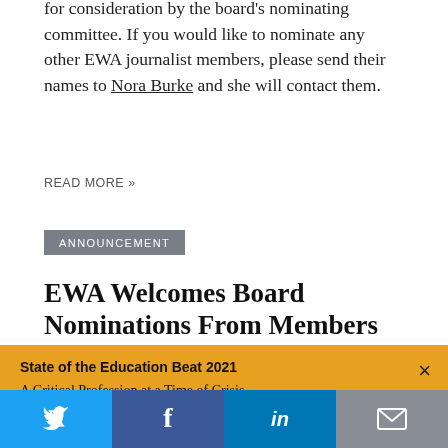for consideration by the board's nominating committee. If you would like to nominate any other EWA journalist members, please send their names to Nora Burke and she will contact them.
READ MORE »
ANNOUNCEMENT
EWA Welcomes Board Nominations From Members
January 2016 Vacancy
JANUARY 27, 2016
State of the Education Beat 2021
A Critical Profession at a Time of Crisis